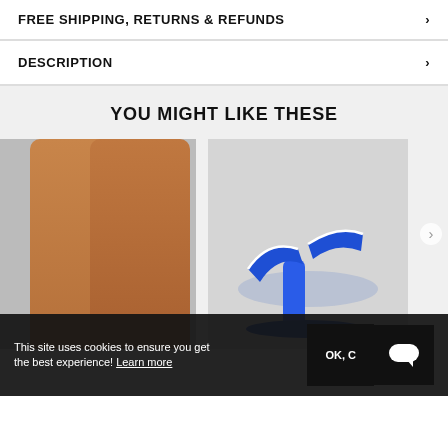FREE SHIPPING, RETURNS & REFUNDS
DESCRIPTION
YOU MIGHT LIKE THESE
[Figure (photo): Model's legs from the knee down against a light gray background]
[Figure (photo): Blue high-heel sandal shoe on a light gray background]
This site uses cookies to ensure you get the best experience! Learn more